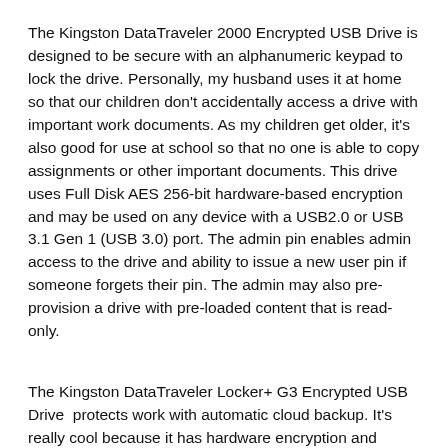The Kingston DataTraveler 2000 Encrypted USB Drive is designed to be secure with an alphanumeric keypad to lock the drive. Personally, my husband uses it at home so that our children don't accidentally access a drive with important work documents. As my children get older, it's also good for use at school so that no one is able to copy assignments or other important documents. This drive uses Full Disk AES 256-bit hardware-based encryption and may be used on any device with a USB2.0 or USB 3.1 Gen 1 (USB 3.0) port. The admin pin enables admin access to the drive and ability to issue a new user pin if someone forgets their pin. The admin may also pre-provision a drive with pre-loaded content that is read-only.
The Kingston DataTraveler Locker+ G3 Encrypted USB Drive  protects work with automatic cloud backup. It's really cool because it has hardware encryption and password protection. An extra security measure is that the